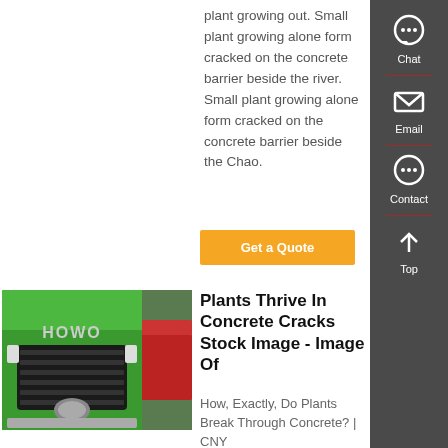plant growing out. Small plant growing alone form cracked on the concrete barrier beside the river. Small plant growing alone form cracked on the concrete barrier beside the Chao.
Get a Quote
[Figure (photo): Close-up photo of a green HOWO truck front grille and hood with other vehicles in background]
Plants Thrive In Concrete Cracks Stock Image - Image Of
How, Exactly, Do Plants Break Through Concrete? | CNY